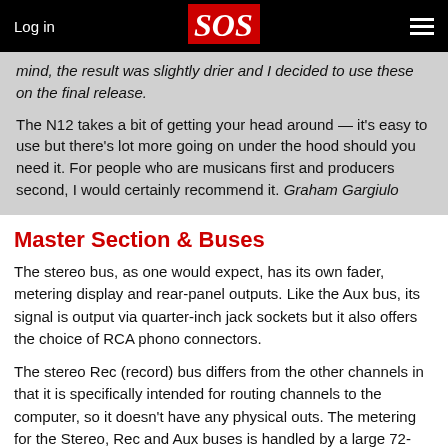Log in | SOS
mind, the result was slightly drier and I decided to use these on the final release.

The N12 takes a bit of getting your head around — it's easy to use but there's lot more going on under the hood should you need it. For people who are musicans first and producers second, I would certainly recommend it. Graham Gargiulo
Master Section & Buses
The stereo bus, as one would expect, has its own fader, metering display and rear-panel outputs. Like the Aux bus, its signal is output via quarter-inch jack sockets but it also offers the choice of RCA phono connectors.
The stereo Rec (record) bus differs from the other channels in that it is specifically intended for routing channels to the computer, so it doesn't have any physical outs. The metering for the Stereo, Rec and Aux buses is handled by a large 72-LED display, providing stereo information in 12 stages for each bus.